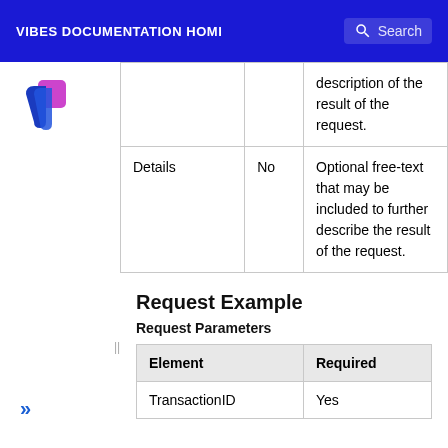VIBES DOCUMENTATION HOME  Search
|  |  | description of the result of the request. |
| Details | No | Optional free-text that may be included to further describe the result of the request. |
Request Example
Request Parameters
| Element | Required |
| --- | --- |
| TransactionID | Yes |